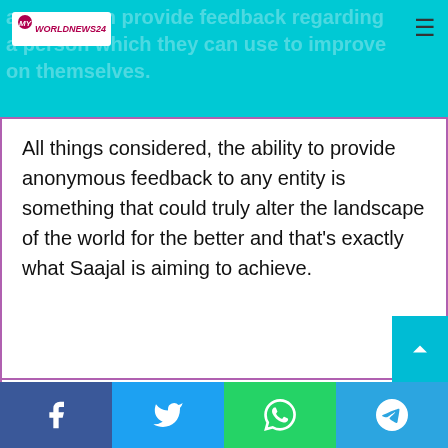anyone can provide feedback regarding a person which they can use to improve on themselves.
All things considered, the ability to provide anonymous feedback to any entity is something that could truly alter the landscape of the world for the better and that's exactly what Saajal is aiming to achieve.
[Figure (other): Social media share buttons: Facebook, Twitter, LinkedIn, Tumblr, Pinterest, Reddit, VK, Email, Print]
[Figure (photo): Author photo — person with curly hair, partially visible at bottom of page]
Bottom social bar with Facebook, Twitter, WhatsApp, Telegram share buttons